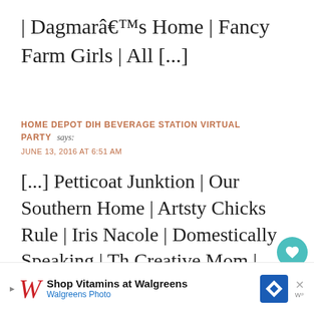| Dagmarâ€™s Home | Fancy Farm Girls | All [...]
HOME DEPOT DIH BEVERAGE STATION VIRTUAL PARTY says:
JUNE 13, 2016 AT 6:51 AM
[...] Petticoat Junktion | Our Southern Home | Artsty Chicks Rule | Iris Nacole | Domestically Speaking | The Creative Mom | Live Laugh Rowe | Little Vintage Nest | One Artsy Mama | Dagmarâ€™s Home | Fancy Farm Girls |
[Figure (other): Advertisement bar for Walgreens Photo shop vitamins at the bottom of the page]